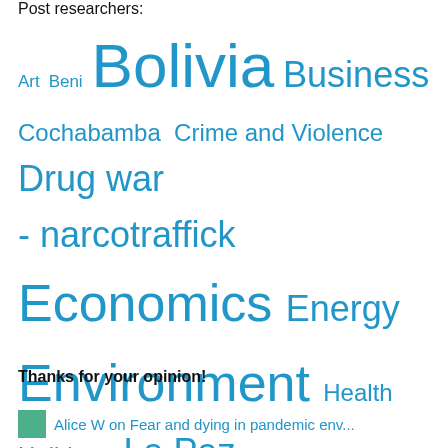Post researchers:
[Figure (infographic): Tag cloud with Bolivia-related categories in varying font sizes, all in blue. Larger tags: Bolivia, Social Unrest, Politics, Economics. Medium tags: Business, Drug war - narcotraffick, Environment, Energy, Crime and Violence, Cochabamba. Smaller tags: Art, Beni, Health, Holidays, La Paz, Mining, Potosi, Santa Cruz, TIPNIS, Tourism, Uncategorized.]
Thanks for your opinion!
Alice W on Fear and dying in pandemic env...